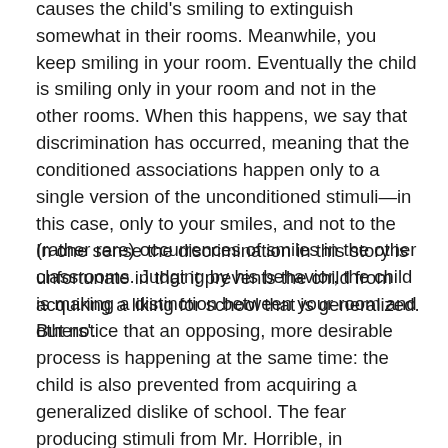causes the child's smiling to extinguish somewhat in their rooms. Meanwhile, you keep smiling in your room. Eventually the child is smiling only in your room and not in the other rooms. When this happens, we say that discrimination has occurred, meaning that the conditioned associations happen only to a single version of the unconditioned stimuli—in this case, only to your smiles, and not to the (rather rare) occurrences of smiles in the other classrooms. Judging by his behavior, the child is making a distinction between your room and others'.
In one sense the discrimination in this story is unfortunate in that it prevents the child from acquiring a liking for school that is generalized. But notice that an opposing, more desirable process is happening at the same time: the child is also prevented from acquiring a generalized dislike of school. The fear producing stimuli from Mr. Horrible, in particular, become discriminated from the happiness-